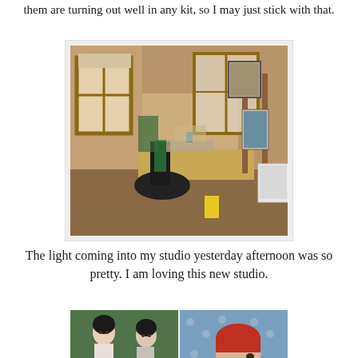them are turning out well in any kit, so I may just stick with that.
[Figure (photo): An artist's studio interior with wooden window frames, bright natural light, a messy desk with art supplies, a black office chair, a large wooden easel with a painting on it, and a white side table with art materials.]
The light coming into my studio yesterday afternoon was so pretty.  I am loving this new studio.
[Figure (photo): Two paintings side by side: on the left, two stylized female figures with dark hair on a green background; on the right, a profile portrait of a figure with a red headscarf against a blue patterned background.]